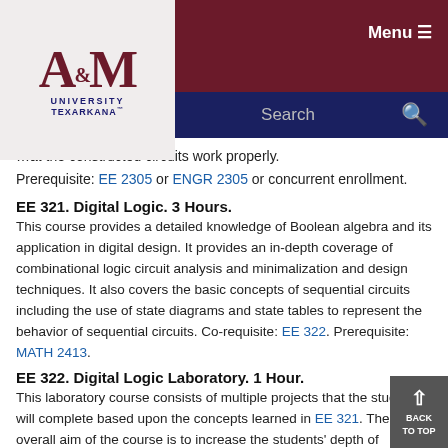[Figure (logo): Texas A&M University Texarkana logo in top-left corner]
Menu navigation bar and Search bar
...at the constructed circuits work properly. Prerequisite: EE 2305 or ENGR 2305 or concurrent enrollment.
EE 321. Digital Logic. 3 Hours.
This course provides a detailed knowledge of Boolean algebra and its application in digital design. It provides an in-depth coverage of combinational logic circuit analysis and minimalization and design techniques. It also covers the basic concepts of sequential circuits including the use of state diagrams and state tables to represent the behavior of sequential circuits. Co-requisite: EE 322. Prerequisite: MATH 2413.
EE 322. Digital Logic Laboratory. 1 Hour.
This laboratory course consists of multiple projects that the students will complete based upon the concepts learned in EE 321. The overall aim of the course is to increase the students' depth of understanding of digital logic design and implementation. Prerequisite: EE 321.